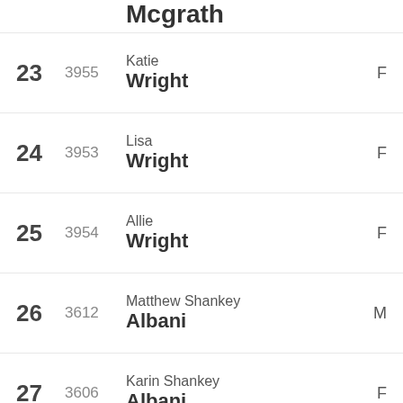Mcgrath (partial, top of page)
23  3955  Katie Wright  F
24  3953  Lisa Wright  F
25  3954  Allie Wright  F
26  3612  Matthew Shankey Albani  M
27  3606  Karin Shankey Albani  F